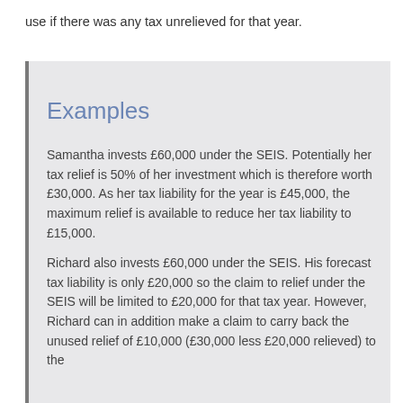use if there was any tax unrelieved for that year.
Examples
Samantha invests £60,000 under the SEIS. Potentially her tax relief is 50% of her investment which is therefore worth £30,000. As her tax liability for the year is £45,000, the maximum relief is available to reduce her tax liability to £15,000.
Richard also invests £60,000 under the SEIS. His forecast tax liability is only £20,000 so the claim to relief under the SEIS will be limited to £20,000 for that tax year. However, Richard can in addition make a claim to carry back the unused relief of £10,000 (£30,000 less £20,000 relieved) to the